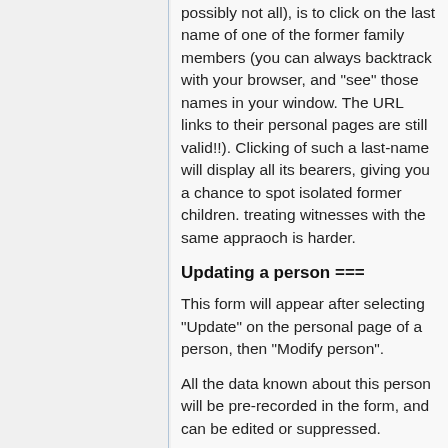possibly not all), is to click on the last name of one of the former family members (you can always backtrack with your browser, and "see" those names in your window. The URL links to their personal pages are still valid!!). Clicking of such a last-name will display all its bearers, giving you a chance to spot isolated former children. treating witnesses with the same appraoch is harder.
Updating a person ===
This form will appear after selecting "Update" on the personal page of a person, then "Modify person".
All the data known about this person will be pre-recorded in the form, and can be edited or suppressed.
Clicking the Ok button at the end of the